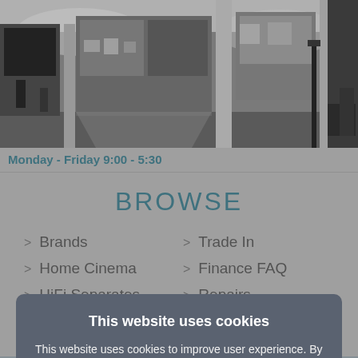[Figure (photo): Black and white photo of a shopping arcade/high street with shop fronts and columns]
Monday - Friday 9:00 - 5:30
BROWSE
> Brands
> Home Cinema
> HiFi Separates
> Speakers
> Pre-Owned
> Covid 19
> Trade In
> Finance FAQ
> Repairs
> Delivery
> Cookie Policy
> Contact Us
This website uses cookies
This website uses cookies to improve user experience. By using our website you consent to all cookies in accordance with our Cookie Policy.
I agree
Read more